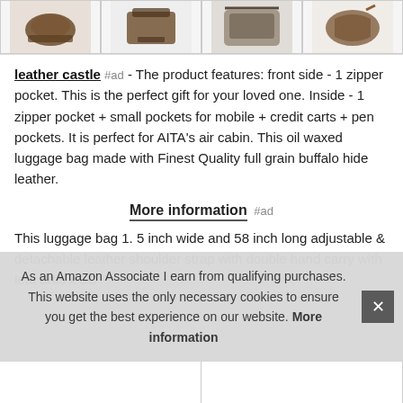[Figure (photo): Four thumbnail images of leather bags/luggage shown in a row at the top]
leather castle #ad - The product features: front side - 1 zipper pocket. This is the perfect gift for your loved one. Inside - 1 zipper pocket + small pockets for mobile + credit carts + pen pockets. It is perfect for AITA's air cabin. This oil waxed luggage bag made with Finest Quality full grain buffalo hide leather.
More information #ad
This luggage bag 1. 5 inch wide and 58 inch long adjustable & detachable leather shoulder strap with double hand carry with leat artis x 3C
As an Amazon Associate I earn from qualifying purchases. This website uses the only necessary cookies to ensure you get the best experience on our website. More information